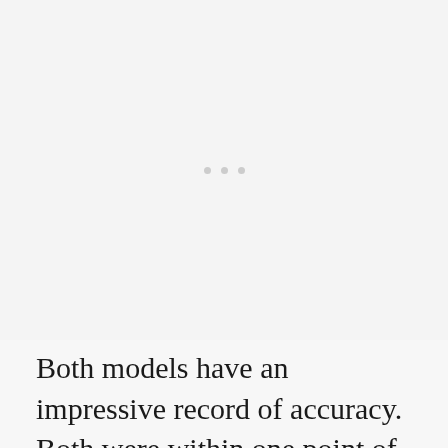[Figure (other): Large blank/placeholder area with three small light gray dots near the center, representing an image or figure placeholder.]
Both models have an impressive record of accuracy. Both were within one point of the two-party vote in both 2012 and 2016. The